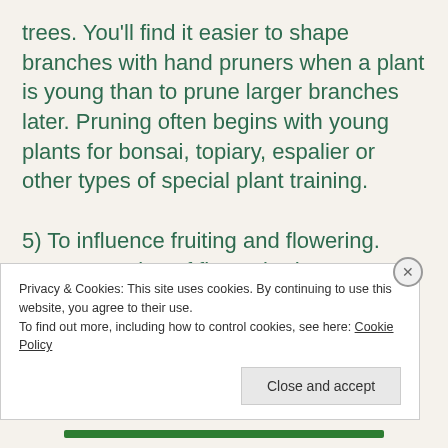trees. You'll find it easier to shape branches with hand pruners when a plant is young than to prune larger branches later. Pruning often begins with young plants for bonsai, topiary, espalier or other types of special plant training.
5) To influence fruiting and flowering. Proper pruning of flower buds encourages early vegetative growth. You can also use selective pruning to stimulate flowering in some species,
Privacy & Cookies: This site uses cookies. By continuing to use this website, you agree to their use.
To find out more, including how to control cookies, see here: Cookie Policy
Close and accept